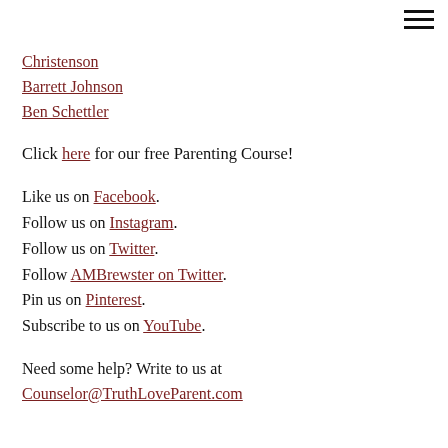Christenson
Barrett Johnson
Ben Schettler
Click here for our free Parenting Course!
Like us on Facebook.
Follow us on Instagram.
Follow us on Twitter.
Follow AMBrewster on Twitter.
Pin us on Pinterest.
Subscribe to us on YouTube.
Need some help? Write to us at
Counselor@TruthLoveParent.com